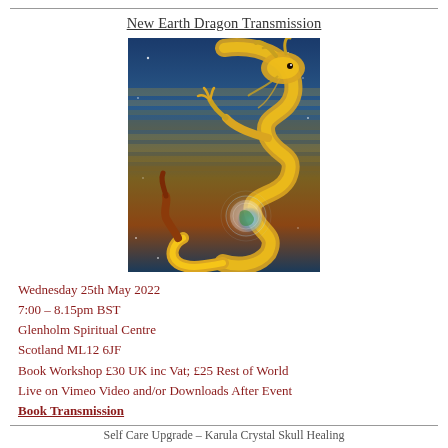New Earth Dragon Transmission
[Figure (illustration): A golden dragon coiling against a blue and brown background, holding or near a glowing blue Earth, with stars scattered in the background.]
Wednesday 25th May 2022
7:00 – 8.15pm BST
Glenholm Spiritual Centre
Scotland ML12 6JF
Book Workshop £30 UK inc Vat; £25 Rest of World
Live on Vimeo Video and/or Downloads After Event
Book Transmission
Self Care Upgrade – Karula Crystal Skull Healing